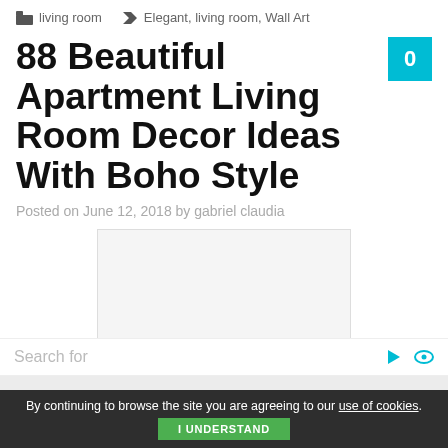living room   Elegant, living room, Wall Art
88 Beautiful Apartment Living Room Decor Ideas With Boho Style
Posted on June 12, 2018 by gabriel claudia
[Figure (photo): White/light gray placeholder image area for article content]
Search for
By continuing to browse the site you are agreeing to our use of cookies. I UNDERSTAND